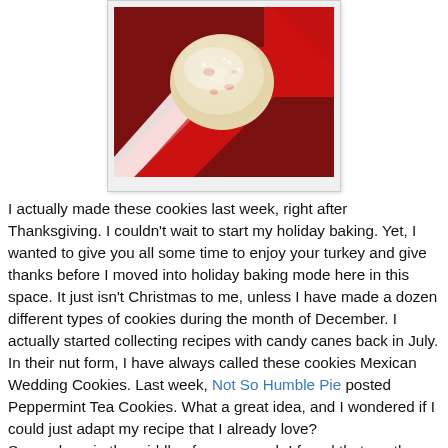[Figure (photo): Close-up photo of a round snowball cookie dusted with powdered sugar, resting on red and white candy canes against a red background.]
I actually made these cookies last week, right after Thanksgiving. I couldn't wait to start my holiday baking. Yet, I wanted to give you all some time to enjoy your turkey and give thanks before I moved into holiday baking mode here in this space. It just isn't Christmas to me, unless I have made a dozen different types of cookies during the month of December. I actually started collecting recipes with candy canes back in July.
In their nut form, I have always called these cookies Mexican Wedding Cookies. Last week, Not So Humble Pie posted Peppermint Tea Cookies. What a great idea, and I wondered if I could just adapt my recipe that I already love?
Somewhere in the middle of my research I found that another name for these cookies is snowball. Candy Cane